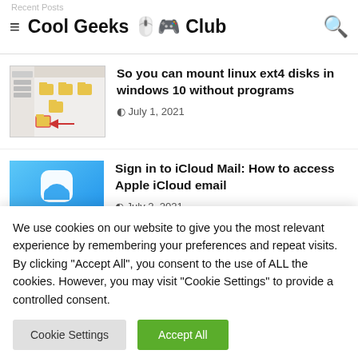Cool Geeks 🖱️🎮 Club
Recent Posts
[Figure (screenshot): Windows File Explorer screenshot showing folder icons and a red arrow pointing to a folder]
So you can mount linux ext4 disks in windows 10 without programs
July 1, 2021
[Figure (logo): iCloud logo on blue gradient background with iCloud label in white]
Sign in to iCloud Mail: How to access Apple iCloud email
July 2, 2021
[Figure (screenshot): Slack interface screenshot showing dark/grey UI]
Slack conversation threads what
We use cookies on our website to give you the most relevant experience by remembering your preferences and repeat visits. By clicking "Accept All", you consent to the use of ALL the cookies. However, you may visit "Cookie Settings" to provide a controlled consent.